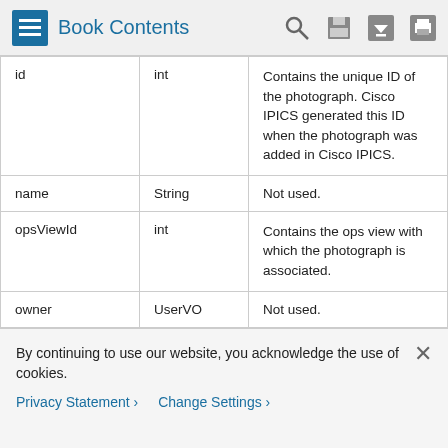Book Contents
| Field | Type | Description |
| --- | --- | --- |
| id | int | Contains the unique ID of the photograph. Cisco IPICS generated this ID when the photograph was added in Cisco IPICS. |
| name | String | Not used. |
| opsViewId | int | Contains the ops view with which the photograph is associated. |
| owner | UserVO | Not used. |
| ownerId | int | Contains the unique ID of the user who added the photograph. Cisco IPICS generated this ID... |
By continuing to use our website, you acknowledge the use of cookies.
Privacy Statement > Change Settings >